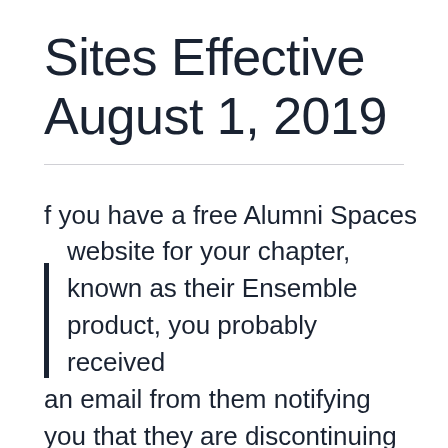Sites Effective August 1, 2019
If you have a free Alumni Spaces website for your chapter, known as their Ensemble product, you probably received an email from them notifying you that they are discontinuing those sites effective August 1st. For those who have a free Alumni Spaces